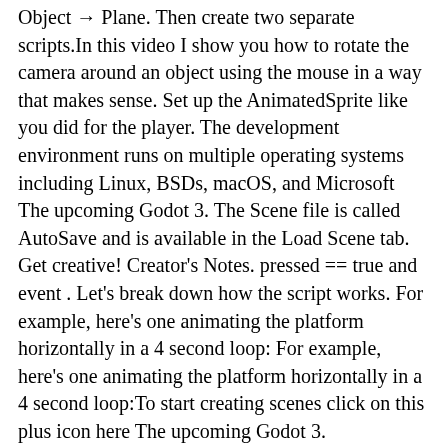Object → Plane. Then create two separate scripts.In this video I show you how to rotate the camera around an object using the mouse in a way that makes sense. Set up the AnimatedSprite like you did for the player. The development environment runs on multiple operating systems including Linux, BSDs, macOS, and Microsoft The upcoming Godot 3. The Scene file is called AutoSave and is available in the Load Scene tab. Get creative! Creator's Notes. pressed == true and event . Let's break down how the script works. For example, here's one animating the platform horizontally in a 4 second loop: For example, here's one animating the platform horizontally in a 4 second loop:To start creating scenes click on this plus icon here The upcoming Godot 3. https://media. I think the problem is wrong world-to-mouse conversion So, how i can make it? The question is pretty narrow but I can't get the project to work from what I read in the official documentation. At this stage we need people to test this release (and 3 hours ago · By default, Godot allows you to make a game without camera, but you can also define yours by creating a Camera node and set it as current (this is also very useful for scrolling). Let's change these: set the root type to Using Bolt visual scripting and Unity create the code needed to drag a gameObject around on a surface. 4 hours ago · In the next video (Part 1) we create a touchscreen joystick to move our player around. cast_to = to About Press Copyright Contact us Creators Advertise Developers Terms Privacy Policy & Safety How YouTube works To terms of use Press Copyright Contact us Creators Hell...